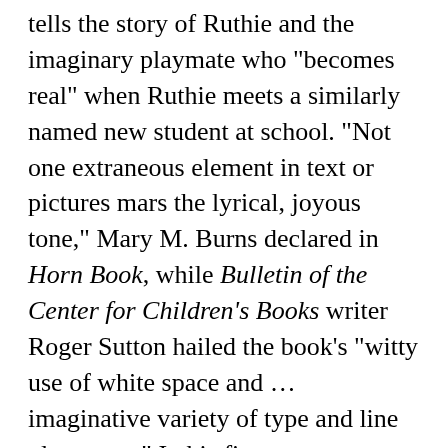tells the story of Ruthie and the imaginary playmate who "becomes real" when Ruthie meets a similarly named new student at school. "Not one extraneous element in text or pictures mars the lyrical, joyous tone," Mary M. Burns declared in Horn Book, while Bulletin of the Center for Children's Books writer Roger Sutton hailed the book's "witty use of white space and … imaginative variety of type and line placement." In his first venture outside of watercolors, Henkes used broad-stroked acrylic paintings in Shhhh, a gentle portrayal of a child awake in the quiet early morning. The artwork was deemed perfect in conveying "the hushed world of